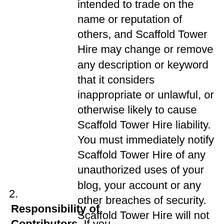intended to trade on the name or reputation of others, and Scaffold Tower Hire may change or remove any description or keyword that it considers inappropriate or unlawful, or otherwise likely to cause Scaffold Tower Hire liability. You must immediately notify Scaffold Tower Hire of any unauthorized uses of your blog, your account or any other breaches of security. Scaffold Tower Hire will not be liable for any acts or omissions by You, including any damages of any kind incurred as a result of such acts or omissions.
2. Responsibility of Contributors. If you operate a blog, comment on a blog, post material to the Website,